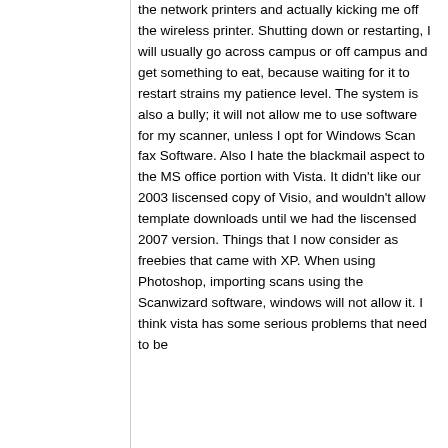the network printers and actually kicking me off the wireless printer.  Shutting down or restarting, I will usually go across campus or off campus and get something to eat, because waiting for it to restart strains my patience level.  The system is also a bully; it will not allow me to use software for my scanner, unless I opt for Windows Scan fax Software.  Also I hate the blackmail aspect to the MS office portion with Vista.  It didn't like our 2003 liscensed copy of Visio, and wouldn't allow template downloads until we had the liscensed 2007 version. Things that I now consider as freebies that came with XP.  When using Photoshop, importing scans using the Scanwizard software, windows will not allow it.   I think vista has some serious problems that need to be